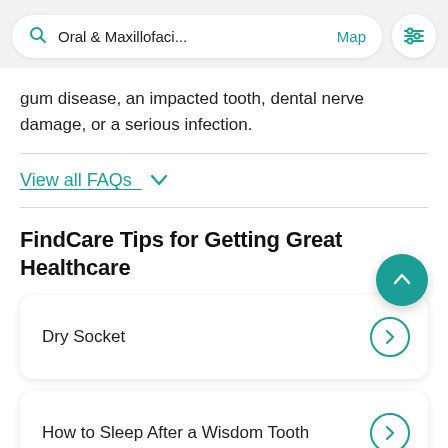[Figure (screenshot): Search bar with 'Oral & Maxillofaci...' text, 'Map' link, and a filter icon button]
gum disease, an impacted tooth, dental nerve damage, or a serious infection.
View all FAQs  ∨
FindCare Tips for Getting Great Healthcare
Dry Socket
How to Sleep After a Wisdom Tooth